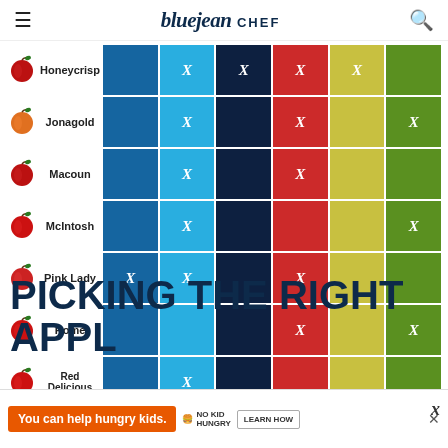bluejean CHEF
| Icon | Variety | Col1 | Col2 | Col3 | Col4 | Col5 | Col6 |
| --- | --- | --- | --- | --- | --- | --- | --- |
| 🍎 | Honeycrisp |  | X | X | X | X |  |
| 🍊 | Jonagold |  | X |  | X |  | X |
| 🍎 | Macoun |  | X |  | X |  |  |
| 🍎 | McIntosh |  | X |  | X |  | X |
| 🍎 | Pink Lady | X | X |  | X |  |  |
| 🍎 | Rome |  |  |  | X |  | X |
| 🍎 | Red Delicious |  | X |  |  |  |  |
PICKING THE RIGHT APPLE
You can help hungry kids. NO KID HUNGRY LEARN HOW